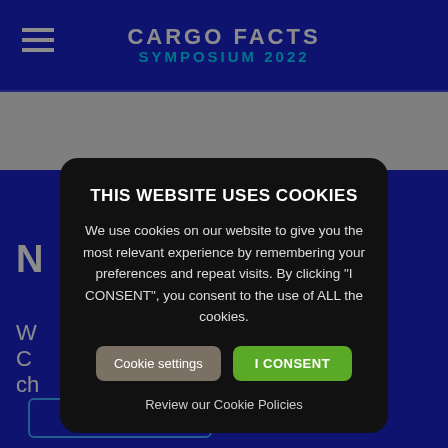CARGO FACTS SYMPOSIUM 2022
THIS WEBSITE USES COOKIES
We use cookies on our website to give you the most relevant experience by remembering your preferences and repeat visits. By clicking "I CONSENT", you consent to the use of ALL the cookies.
Cookie settings
I CONSENT
Review our Cookie Policies